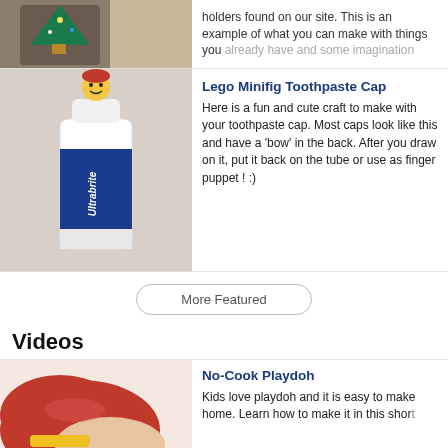[Figure (photo): Partial view of a Christmas tree ornament or felt craft on a wooden surface]
holders found on our site. This is an example of what you can make with things you already have and some imagination
[Figure (photo): Toothpaste tube (Ultrabrite) with a Lego minifig head drawn on the cap, standing upright]
Lego Minifig Toothpaste Cap
Here is a fun and cute craft to make with your toothpaste cap. Most caps look like this and have a 'bow' in the back. After you draw on it, put it back on the tube or use as finger puppet ! :)
More Featured
Videos
[Figure (photo): Hands working with red playdoh and a yellow tool on a white surface]
No-Cook Playdoh
Kids love playdoh and it is easy to make at home. Learn how to make it in this short